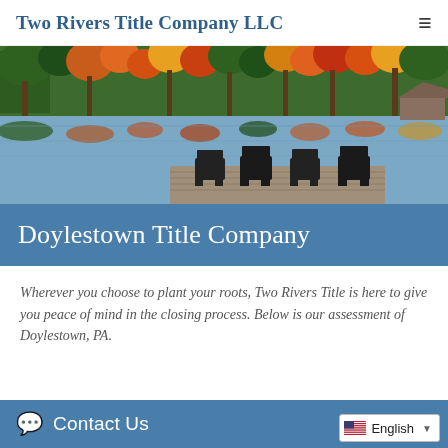Two Rivers Title Company LLC
[Figure (photo): Autumn lake scene with colorful fall foliage reflected in calm water, Adirondack chairs on a wooden dock in the foreground]
Doylestown Title Company
Wherever you choose to plant your roots, Two Rivers Title is here to give you peace of mind in the closing process. Below is our assessment of Doylestown, PA.
Contact Us